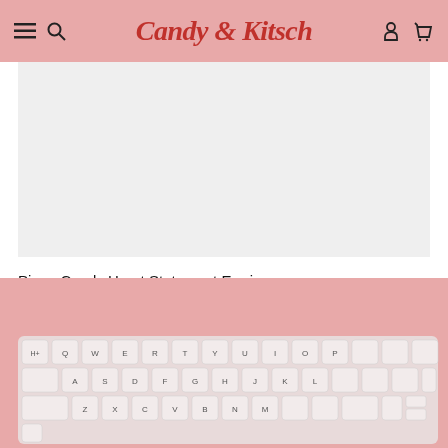Candy & Kitsch
[Figure (photo): Product image area showing a light gray background — earring product image cropped at top]
Pinup Candy Heart Statement Earrings
$55.00
[Figure (photo): Pink background with a close-up photo of a light pink / blush keyboard (keys visible: Q W E R T Y U I O P, A S D F G H J K L, Z X C V B N M and various modifier keys)]